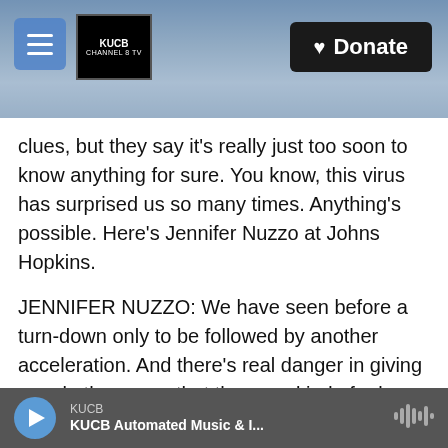[Figure (screenshot): Website header banner with snowy mountain landscape background, hamburger menu button on left, KUCB Channel 8 TV logo, and Donate button on right]
clues, but they say it's really just too soon to know anything for sure. You know, this virus has surprised us so many times. Anything's possible. Here's Jennifer Nuzzo at Johns Hopkins.
JENNIFER NUZZO: We have seen before a turn-down only to be followed by another acceleration. And there's real danger in giving people the sense that they can kind of relax their worries prematurely.
STEIN: And Nuzzo points out that the omicron surge has already hit record-high levels. So even if
KUCB | KUCB Automated Music & I...